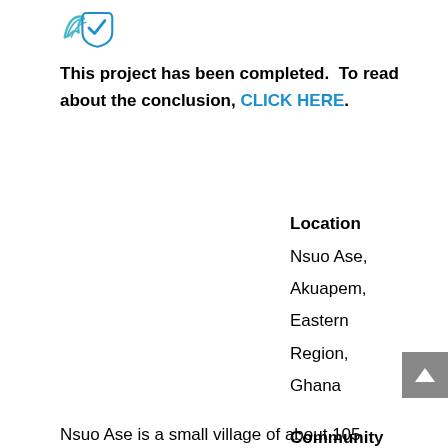[Figure (logo): Two overlapping logo icons - a hand/wing shape and a checkmark/shield shape in blue and teal]
This project has been completed. To read about the conclusion, CLICK HERE.
Location
Nsuo Ase, Akuapem, Eastern Region, Ghana
Community Description
Nsuo Ase is a small village of about 105